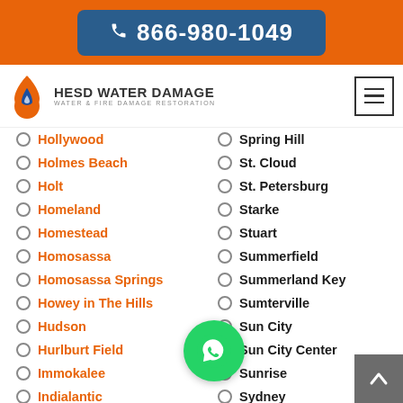866-980-1049
[Figure (logo): HESD Water Damage logo with flame icon and text 'HESD WATER DAMAGE - WATER & FIRE DAMAGE RESTORATION']
Hollywood
Spring Hill
Holmes Beach
St. Cloud
Holt
St. Petersburg
Homeland
Starke
Homestead
Stuart
Homosassa
Summerfield
Homosassa Springs
Summerland Key
Howey in The Hills
Sumterville
Hudson
Sun City
Hurlburt Field
Sun City Center
Immokalee
Sunrise
Indialantic
Sydney